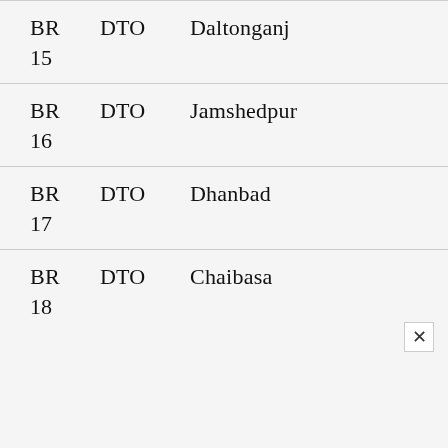BR  DTO  Daltonganj
15
BR  DTO  Jamshedpur
16
BR  DTO  Dhanbad
17
BR  DTO  Chaibasa
18